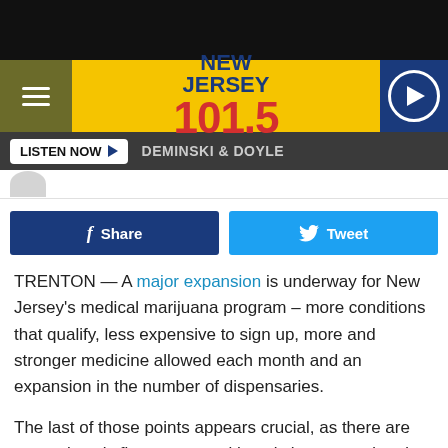[Figure (screenshot): Black top bar of mobile browser]
NEW JERSEY 101.5 — radio station header with hamburger menu, logo, and play button
LISTEN NOW ▶  DEMINSKI & DOYLE
[Figure (screenshot): Partial profile image strip]
[Figure (screenshot): Facebook Share and Twitter Tweet social sharing buttons]
TRENTON — A major expansion is underway for New Jersey's medical marijuana program – more conditions that qualify, less expensive to sign up, more and stronger medicine allowed each month and an expansion in the number of dispensaries.
The last of those points appears crucial, as there are currently only five centers, with a sixth approved and expected to open in Secaucus this spring.